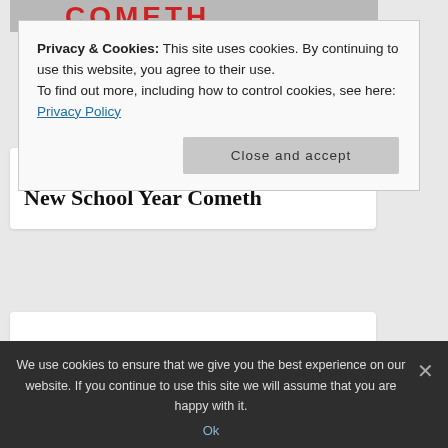[Figure (illustration): Red pixelated banner logo text at top of webpage]
SCHOOL AT HOME (category tag)
New School Year Cometh
Privacy & Cookies: This site uses cookies. By continuing to use this website, you agree to their use.
To find out more, including how to control cookies, see here: Privacy Policy
Close and accept
We use cookies to ensure that we give you the best experience on our website. If you continue to use this site we will assume that you are happy with it.
Ok